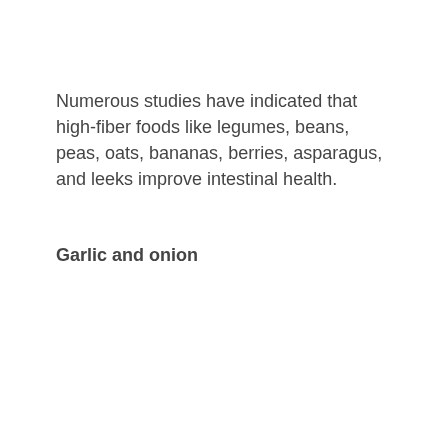Numerous studies have indicated that high-fiber foods like legumes, beans, peas, oats, bananas, berries, asparagus, and leeks improve intestinal health.
Garlic and onion